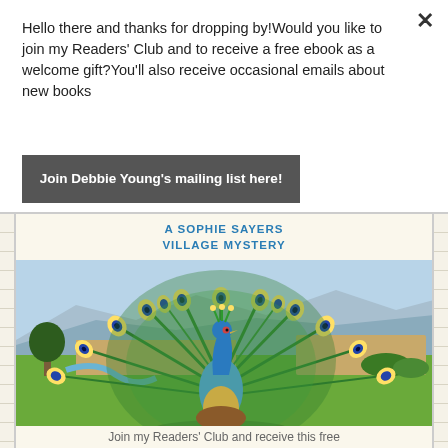Hello there and thanks for dropping by!Would you like to join my Readers' Club and to receive a free ebook as a welcome gift?You'll also receive occasional emails about new books
Join Debbie Young's mailing list here!
[Figure (illustration): Book cover illustration for a Sophie Sayers Village Mystery, featuring a peacock with tail feathers displayed in a countryside landscape with fields, trees and hills in the background. Text at top reads A SOPHIE SAYERS VILLAGE MYSTERY.]
Join my Readers' Club and receive this free